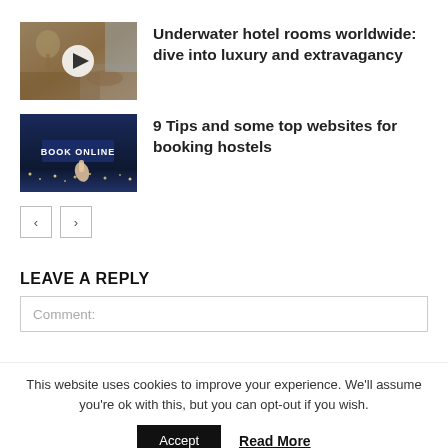[Figure (photo): Thumbnail image of a luxury hotel room interior with a play button overlay (video thumbnail)]
Underwater hotel rooms worldwide: dive into luxury and extravagancy
[Figure (photo): Thumbnail image of a 'Book Online' screen with a hand pointing at it, dark background with city lights]
9 Tips and some top websites for booking hostels
< >
LEAVE A REPLY
Comment:
This website uses cookies to improve your experience. We'll assume you're ok with this, but you can opt-out if you wish.
Accept   Read More